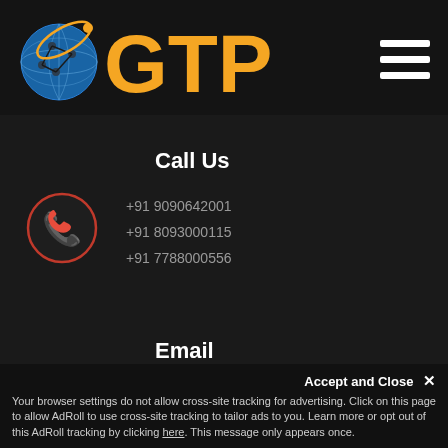[Figure (logo): GTP Globe Tech Promoters logo with globe icon and orange GTP text, plus hamburger menu icon]
Call Us
[Figure (illustration): Red phone handset icon inside a dark circle with red border]
+91 9090642001
+91 8093000115
+91 7788000556
Email
[Figure (illustration): Red envelope email icon with orange arrow]
info@globaltechpromoters.com
support@globaltechpromoters.com
job@globaltechpromoters.com
Accept and Close ✕
Your browser settings do not allow cross-site tracking for advertising. Click on this page to allow AdRoll to use cross-site tracking to tailor ads to you. Learn more or opt out of this AdRoll tracking by clicking here. This message only appears once.